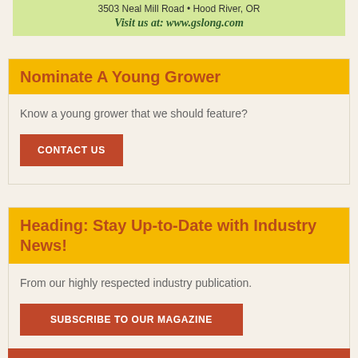3503 Neal Mill Road • Hood River, OR
Visit us at: www.gslong.com
Nominate A Young Grower
Know a young grower that we should feature?
CONTACT US
Heading: Stay Up-to-Date with Industry News!
From our highly respected industry publication.
SUBSCRIBE TO OUR MAGAZINE